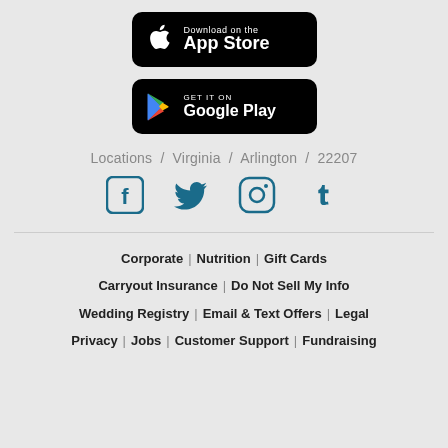[Figure (logo): Download on the App Store button - black rounded rectangle with Apple logo]
[Figure (logo): Get it on Google Play button - black rounded rectangle with Google Play triangle logo]
Locations / Virginia / Arlington / 22207
[Figure (infographic): Social media icons: Facebook, Twitter, Instagram, Tumblr in teal/dark blue color]
Corporate | Nutrition | Gift Cards
Carryout Insurance | Do Not Sell My Info
Wedding Registry | Email & Text Offers | Legal
Privacy | Jobs | Customer Support | Fundraising